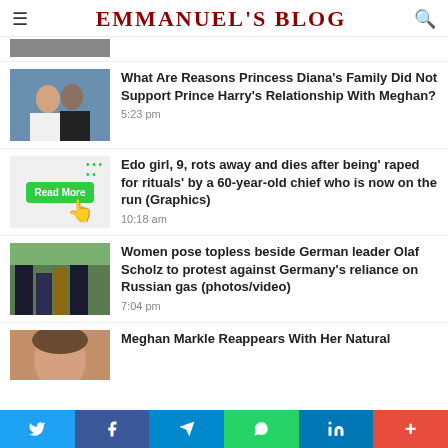EMMANUEL'S BLOG
[Figure (screenshot): Partial cropped image at top]
What Are Reasons Princess Diana's Family Did Not Support Prince Harry's Relationship With Meghan?
5:23 pm
Edo girl, 9, rots away and dies after being' raped for rituals' by a 60-year-old chief who is now on the run (Graphics)
10:18 am
Women pose topless beside German leader Olaf Scholz to protest against Germany's reliance on Russian gas (photos/video)
7:04 pm
Meghan Markle Reappears With Her Natural
Twitter Facebook Telegram WhatsApp LinkedIn More